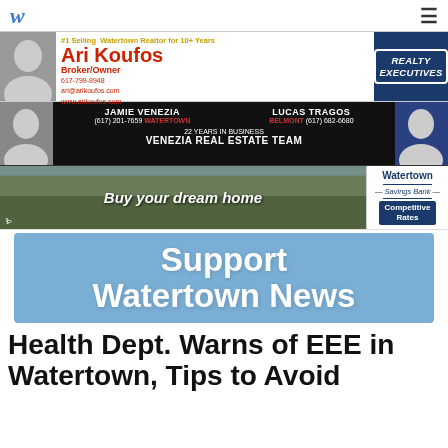w  ≡
[Figure (infographic): Ari Koufos Broker/Owner ad — #1 Selling Watertown Realtor for 10+ Years, 617-799-8948, ari@arikoufos.com, www.arikoufos.com, Realty Executives]
[Figure (infographic): Venezia Real Estate Team ad — Jamie Venezia (617) 201-7659 Watertown, Lucas Tragos Belmont (617) 682-6680, 22 Years in Business]
[Figure (infographic): Watertown Savings Bank ad — Buy your dream home, Competitive Rates]
[Figure (infographic): Support Watertown News banner]
Health Dept. Warns of EEE in Watertown, Tips to Avoid